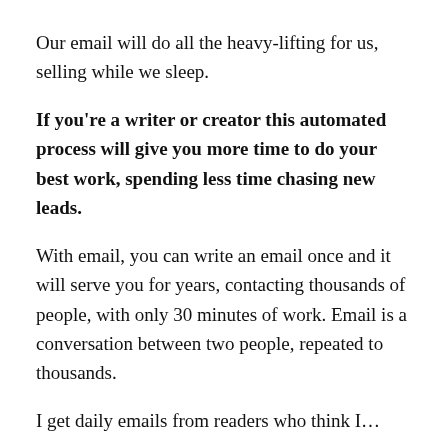Our email will do all the heavy-lifting for us, selling while we sleep.
If you're a writer or creator this automated process will give you more time to do your best work, spending less time chasing new leads.
With email, you can write an email once and it will serve you for years, contacting thousands of people, with only 30 minutes of work. Email is a conversation between two people, repeated to thousands.
I get daily emails from readers who think I…